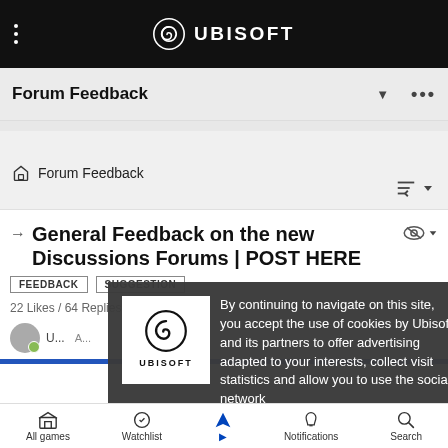UBISOFT
Forum Feedback
Forum Feedback
General Feedback on the new Discussions Forums | POST HERE
FEEDBACK
SUGGESTION
22 Likes / 64 Replies / 1368 Views
By continuing to navigate on this site, you accept the use of cookies by Ubisoft and its partners to offer advertising adapted to your interests, collect visit statistics and allow you to use the social network share buttons. To learn more and set your cookies.
All games  Watchlist  Notifications  Search